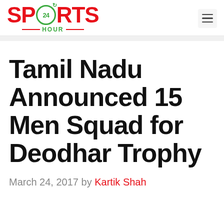SPORTS 24 HOUR
Tamil Nadu Announced 15 Men Squad for Deodhar Trophy
March 24, 2017 by Kartik Shah